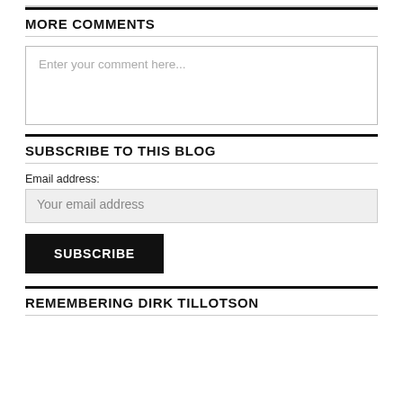MORE COMMENTS
Enter your comment here...
SUBSCRIBE TO THIS BLOG
Email address:
Your email address
SUBSCRIBE
REMEMBERING DIRK TILLOTSON